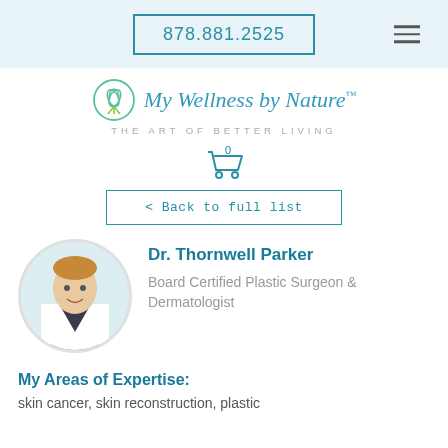878.881.2525
[Figure (logo): My Wellness by Nature logo with lotus flower icon and tagline THE ART OF BETTER LIVING]
[Figure (other): Shopping cart icon with 0 badge]
< Back to full list
[Figure (photo): Circular headshot photo of Dr. Thornwell Parker in white coat]
Dr. Thornwell Parker
Board Certified Plastic Surgeon & Dermatologist
My Areas of Expertise:
skin cancer, skin reconstruction, plastic